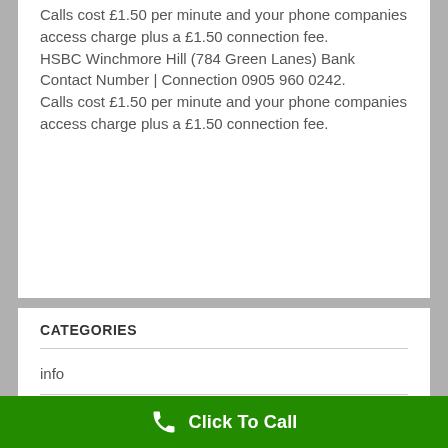Calls cost £1.50 per minute and your phone companies access charge plus a £1.50 connection fee. HSBC Winchmore Hill (784 Green Lanes) Bank Contact Number | Connection 0905 960 0242. Calls cost £1.50 per minute and your phone companies access charge plus a £1.50 connection fee.
CATEGORIES
info
Local